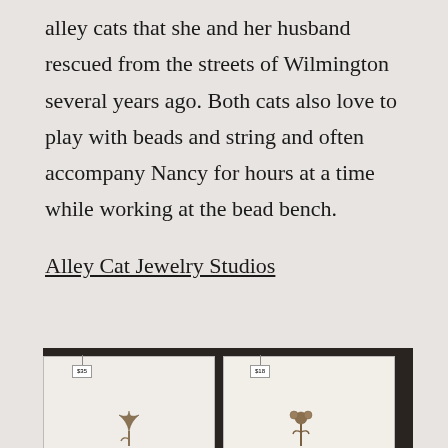alley cats that she and her husband rescued from the streets of Wilmington several years ago. Both cats also love to play with beads and string and often accompany Nancy for hours at a time while working at the bead bench.
Alley Cat Jewelry Studios
[Figure (photo): Two botanical pressed flower artworks displayed on white deckle-edged paper against a dark background, each with a small price tag. A circular scroll-up button appears in the top-right corner of the image.]